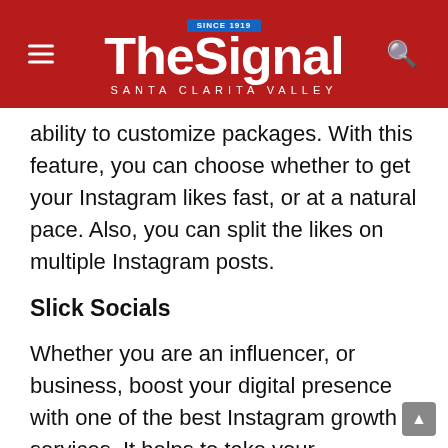The Signal — Santa Clarita Valley
ability to customize packages. With this feature, you can choose whether to get your Instagram likes fast, or at a natural pace. Also, you can split the likes on multiple Instagram posts.
Slick Socials
Whether you are an influencer, or business, boost your digital presence with one of the best Instagram growth services. It helps to take your Instagram account to the next level with authentic likes that render your account famous instantly. With top quality profiles and consistent high quality services,